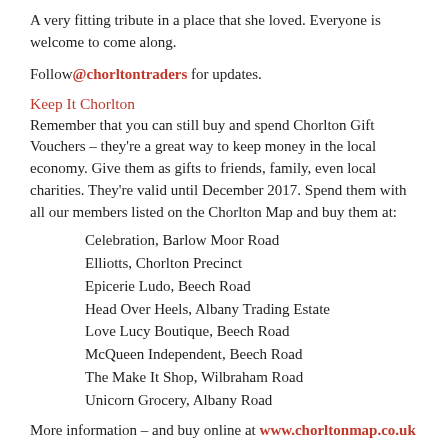A very fitting tribute in a place that she loved. Everyone is welcome to come along.
Follow @chorltontraders for updates.
Keep It Chorlton
Remember that you can still buy and spend Chorlton Gift Vouchers – they're a great way to keep money in the local economy. Give them as gifts to friends, family, even local charities. They're valid until December 2017. Spend them with all our members listed on the Chorlton Map and buy them at:
Celebration, Barlow Moor Road
Elliotts, Chorlton Precinct
Epicerie Ludo, Beech Road
Head Over Heels, Albany Trading Estate
Love Lucy Boutique, Beech Road
McQueen Independent, Beech Road
The Make It Shop, Wilbraham Road
Unicorn Grocery, Albany Road
More information – and buy online at www.chorltonmap.co.uk .